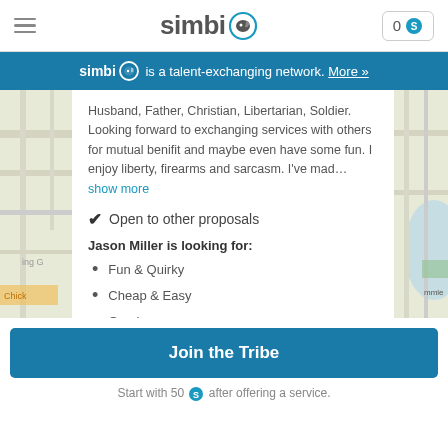simbi — 0 S
simbi is a talent-exchanging network. More »
Husband, Father, Christian, Libertarian, Soldier. Looking forward to exchanging services with others for mutual benifit and maybe even have some fun. I enjoy liberty, firearms and sarcasm. I've mad... show more
✔ Open to other proposals
Jason Miller is looking for:
Fun & Quirky
Cheap & Easy
Gaming
Ask Me Anything
Join the Tribe
Start with 50 S after offering a service.